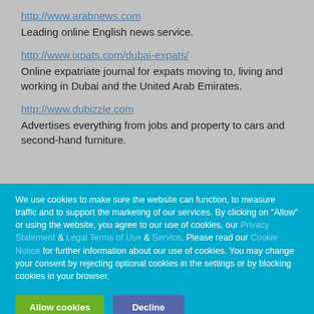http://www.arabnews.com
Leading online English news service.
http://www.ixpats.com/dubai-expats/
Online expatriate journal for expats moving to, living and working in Dubai and the United Arab Emirates.
http://www.dubizzle.com
Advertises everything from jobs and property to cars and second-hand furniture.
We use cookies to make sure the website can function, to measure traffic and to support the marketing of our services. By clicking on "Allow" or using the website, you agree to our use of cookies, our Privacy Statement & Legal Terms of Use & Service. Please read our Cookie Notice for further information about our use of cookies. You may change your consent by rejecting optional cookies in the settings or by blocking cookies in your browser.
Allow cookies   Decline